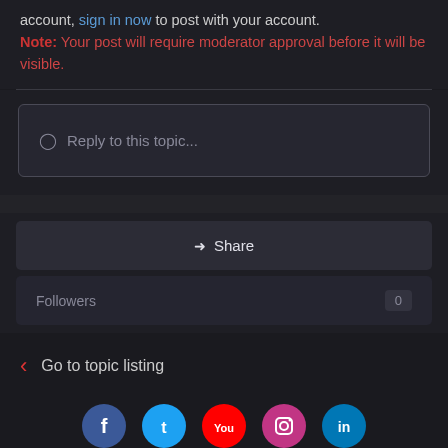account, sign in now to post with your account.
Note: Your post will require moderator approval before it will be visible.
Reply to this topic...
Share
Followers 0
Go to topic listing
[Figure (infographic): Social media icon buttons: Facebook, Twitter, YouTube, Instagram, LinkedIn]